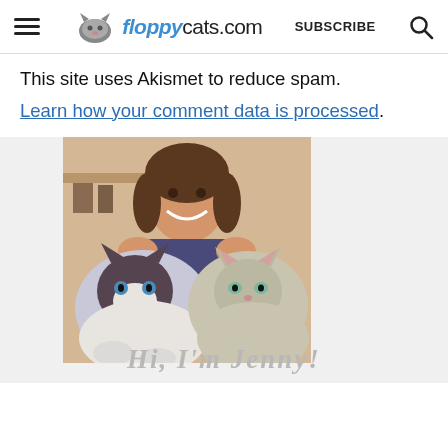floppycats.com | SUBSCRIBE
This site uses Akismet to reduce spam. Learn how your comment data is processed.
[Figure (photo): Woman smiling holding two ragdoll cats — one dark-faced and one light-faced — in a selfie-style photo]
Hi, I'm Jenny!